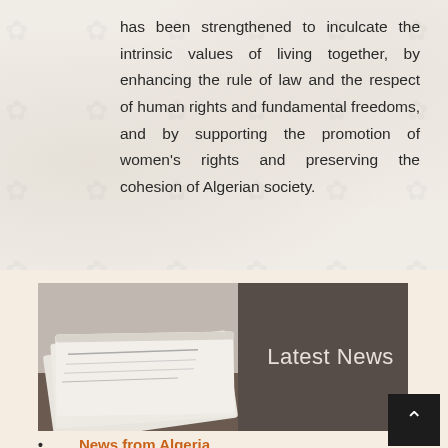has been strengthened to inculcate the intrinsic values of living together, by enhancing the rule of law and the respect of human rights and fundamental freedoms, and by supporting the promotion of women's rights and preserving the cohesion of Algerian society.
[Figure (photo): Stack of newspapers on left, dark brown background on right with text 'Latest News' in light color]
News from Algeria
Counterterrorism
Religious Freedom